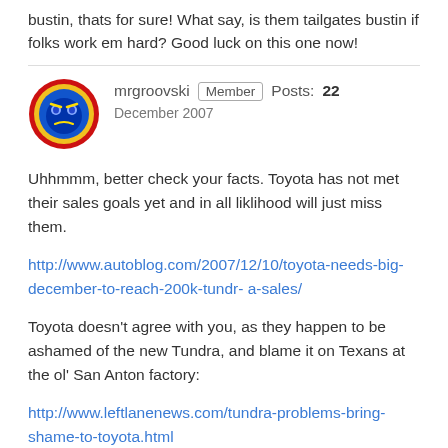bustin, thats for sure! What say, is them tailgates bustin if folks work em hard? Good luck on this one now!
[Figure (illustration): User avatar for mrgroovski: circular avatar with blue background showing a face-like image, surrounded by a red and yellow border]
mrgroovski  Member  Posts: 22
December 2007
Uhhmmm, better check your facts. Toyota has not met their sales goals yet and in all liklihood will just miss them.
http://www.autoblog.com/2007/12/10/toyota-needs-big-december-to-reach-200k-tundr- a-sales/
Toyota doesn't agree with you, as they happen to be ashamed of the new Tundra, and blame it on Texans at the ol' San Anton factory:
http://www.leftlanenews.com/tundra-problems-bring-shame-to-toyota.html